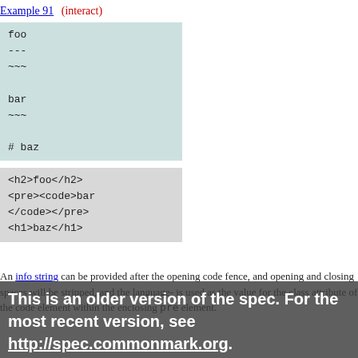Example 91  (interact)
[Figure (screenshot): Code input block with light blue/teal background showing markdown input: foo, ---, ~~~, bar, ~~~, # baz]
[Figure (screenshot): Code output block with grey background showing HTML output: <h2>foo</h2>, <pre><code>bar, </code></pre>, <h1>baz</h1>]
An info string can be provided after the opening code fence, and opening and closing spaces will be stripped, and the language- is used as the value for the class attribute of the code element within the enclosing pre element.
This is an older version of the spec. For the most recent version, see http://spec.commonmark.org.